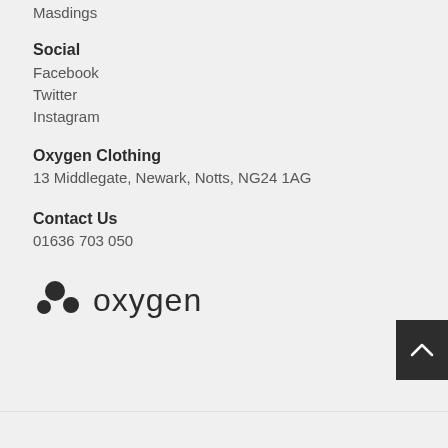Masdings
Social
Facebook
Twitter
Instagram
Oxygen Clothing
13 Middlegate, Newark, Notts, NG24 1AG
Contact Us
01636 703 050
[Figure (logo): Oxygen clothing logo with three dark circles and 'oxygen' wordmark in dark sans-serif text]